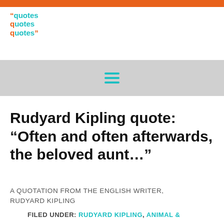[Figure (logo): quotesquotesquotes logo in teal/cyan with orange quotation marks]
[Figure (other): Hamburger menu icon (three horizontal teal lines) on gray navigation bar]
Rudyard Kipling quote: “Often and often afterwards, the beloved aunt…”
A QUOTATION FROM THE ENGLISH WRITER, RUDYARD KIPLING
FILED UNDER: RUDYARD KIPLING, ANIMAL &